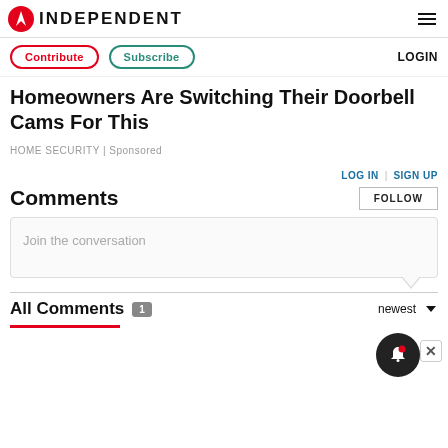INDEPENDENT
Contribute | Subscribe | LOGIN
Homeowners Are Switching Their Doorbell Cams For This
HOME SECURITY | Sponsored
LOG IN | SIGN UP
Comments
FOLLOW
Join the conversation
All Comments 1
newest